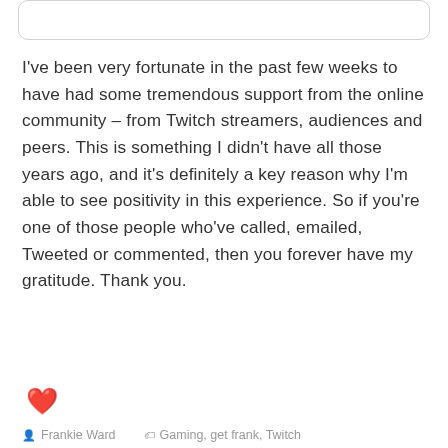[Figure (other): Rounded rectangle box at the top of the page, partially visible]
I've been very fortunate in the past few weeks to have had some tremendous support from the online community – from Twitch streamers, audiences and peers. This is something I didn't have all those years ago, and it's definitely a key reason why I'm able to see positivity in this experience. So if you're one of those people who've called, emailed, Tweeted or commented, then you forever have my gratitude. Thank you.
❤
Frankie Ward   Gaming, get frank, Twitch